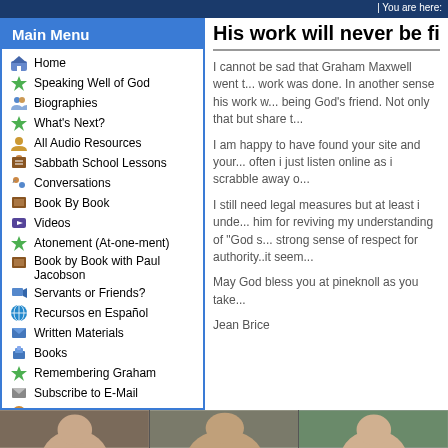| You are here:
Main Menu
Home
Speaking Well of God
Biographies
What's Next?
All Audio Resources
Sabbath School Lessons
Conversations
Book By Book
Videos
Atonement (At-one-ment)
Book by Book with Paul Jacobson
Servants or Friends?
Recursos en Español
Written Materials
Books
Remembering Graham
Subscribe to E-Mail
Contact Us
Donate
His work will never be finish...
I cannot be sad that Graham Maxwell went t... work was done. In another sense his work w... being God's friend. Not only that but share t...
I am happy to have found your site and your... often i just listen online as i scrabble away o...
I still need legal measures but at least i unde... him for reviving my understanding of "God s... strong sense of respect for authority..it seem...
May God bless you at pineknoll as you take...
Jean Brice
[Figure (photo): Three photo thumbnails of people at the bottom of the page]